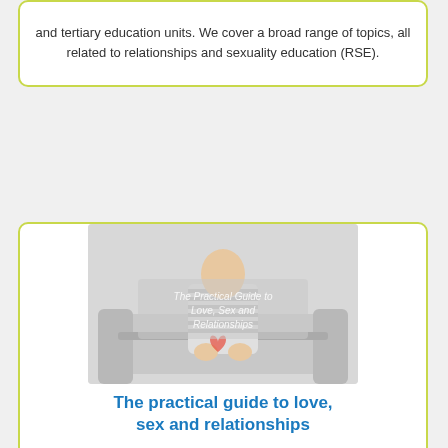and tertiary education units. We cover a broad range of topics, all related to relationships and sexuality education (RSE).
[Figure (illustration): Illustration of a person with striped shirt sitting on a couch, with a book cover overlay reading 'The Practical Guide to Love, Sex and Relationships']
The practical guide to love, sex and relationships
Programs
Teacher notes
Videos
Lower secondary
Middle secondary
Upper secondary
Teacher
Australia
consent
friendships
gender
health literacy